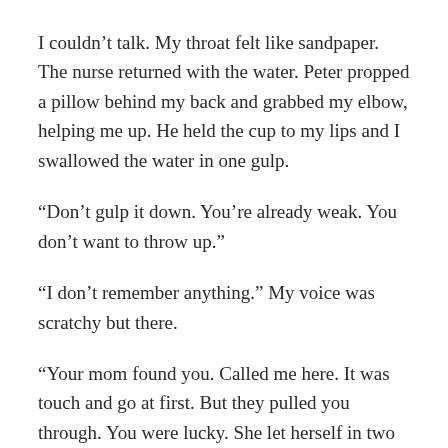I couldn't talk. My throat felt like sandpaper. The nurse returned with the water. Peter propped a pillow behind my back and grabbed my elbow, helping me up. He held the cup to my lips and I swallowed the water in one gulp.
“Don’t gulp it down. You’re already weak. You don’t want to throw up.”
“I don’t remember anything.” My voice was scratchy but there.
“Your mom found you. Called me here. It was touch and go at first. But they pulled you through. You were lucky. She let herself in two minutes or so after you overdosed.”
“I guess she’s sending me back.”